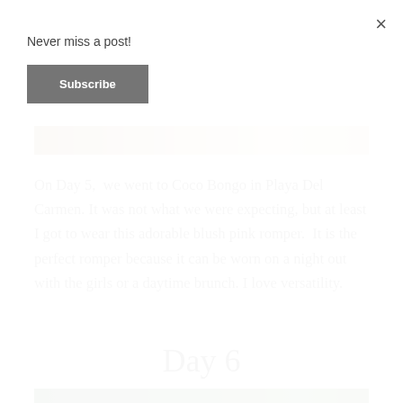[Figure (photo): Partial photo visible at top of page, warm brown/beige tones]
On Day 5,  we went to Coco Bongo in Playa Del Carmen. It was not what we were expecting, but at least I got to wear this adorable blush pink romper.  It is the perfect romper because it can be worn on a night out with the girls or a daytime brunch. I love versatility.
Day 6
[Figure (photo): Partial photo visible at bottom of page, dark green tones]
Never miss a post!
Subscribe
×